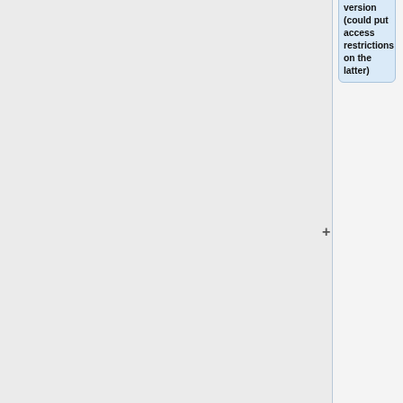hl7.mil:hl7.org. That's a bit confusing. We need 3 sites (Official DSTU, "frozen" version for Connectathons and "development" version (could put access restrictions on the latter)
*** Where are we going to capture changes? (DSTU page vs. gForge)
*** How do we track and post